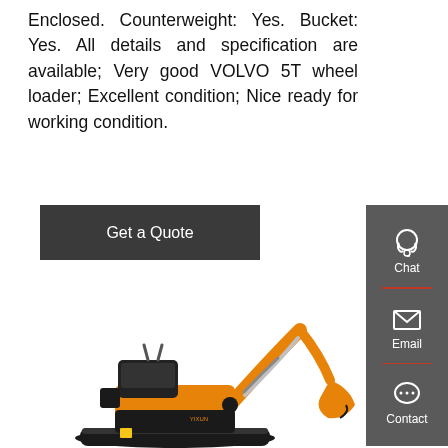Enclosed. Counterweight: Yes. Bucket: Yes. All details and specification are available; Very good VOLVO 5T wheel loader; Excellent condition; Nice ready for working condition.
[Figure (other): Get a Quote button (dark grey/charcoal background with white text)]
[Figure (other): Sidebar with Chat, Email, and Contact icons on grey background with red dividers]
[Figure (photo): Yellow and black mini excavator/digger with tracked undercarriage, articulated arm, and bucket, shown against white background]